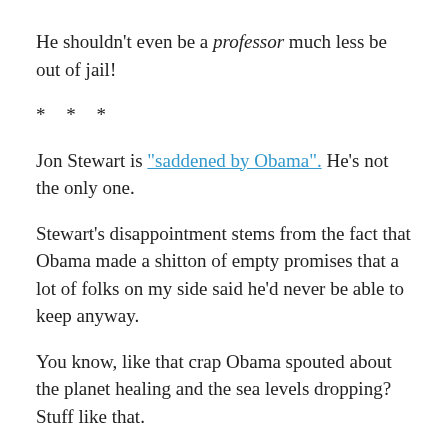He shouldn't even be a professor much less be out of jail!
* * *
Jon Stewart is "saddened by Obama". He's not the only one.
Stewart's disappointment stems from the fact that Obama made a shitton of empty promises that a lot of folks on my side said he'd never be able to keep anyway.
You know, like that crap Obama spouted about the planet healing and the sea levels dropping? Stuff like that.
If you're an Obama voter and now you're "disappointed"